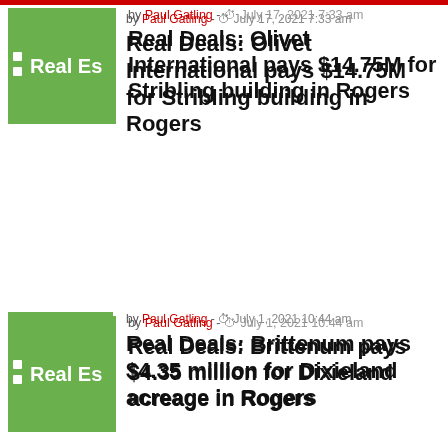by Paul Gatling - July 17, 2021 7:33 am
Real Deals: Olivet International pays $14.75M for Stribling building in Rogers
by Paul Gatling - July 1, 2021 10:44 am
Real Deals: Brittenum pays $4.35 million for Dixieland acreage in Rogers
[Figure (logo): TDS iT Technologies and Xerox advertisement banner on black background]
by Paul Gatling - June 22, 2021 9:23 am
Real Deals: Commerce